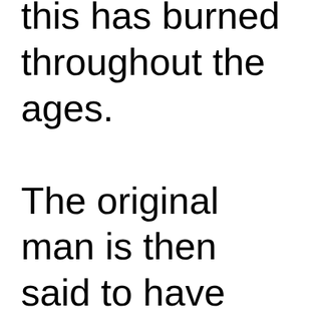this has burned throughout the ages. The original man is then said to have requested a woman